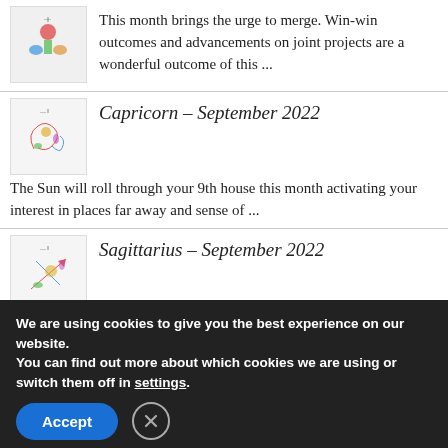This month brings the urge to merge. Win-win outcomes and advancements on joint projects are a wonderful outcome of this ...
[Figure (illustration): Colorful astrology/zodiac figure for Capricorn]
Capricorn - September 2022
The Sun will roll through your 9th house this month activating your interest in places far away and sense of ...
[Figure (illustration): Colorful astrology/zodiac figure for Sagittarius]
Sagittarius - September 2022
The Sun brings attention to your 10th house this month. The 10th house rules your work and career. This transit could ...
[Figure (illustration): Colorful astrology/zodiac figure for Scorpio]
Scorpio - September 2022
We are using cookies to give you the best experience on our website.
You can find out more about which cookies we are using or switch them off in settings.